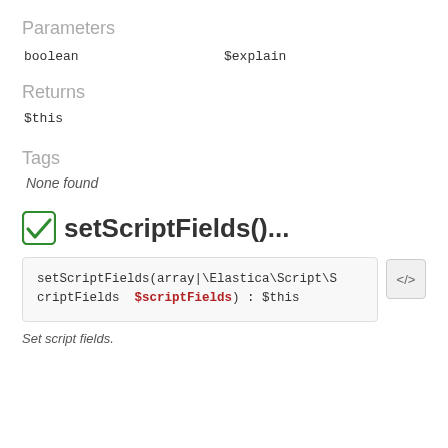Parameters
boolean    $explain
Returns
$this
Tags
None found
setScriptFields()...
setScriptFields(array|\Elastica\Script\ScriptFields $scriptFields) : $this
Set script fields.